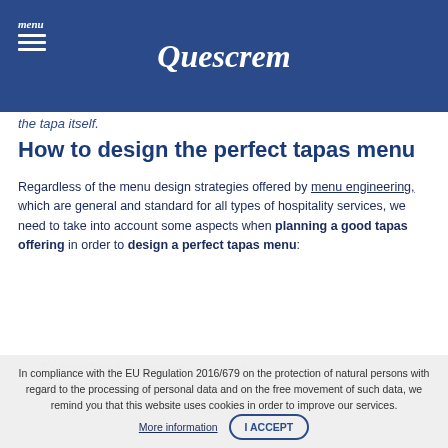menu | Quescrem
the tapa itself.
How to design the perfect tapas menu
Regardless of the menu design strategies offered by menu engineering, which are general and standard for all types of hospitality services, we need to take into account some aspects when planning a good tapas offering in order to design a perfect tapas menu:
Adapt the tapas according to your customers and the style of your business.
It's important to know your customers and why they come to your busines... cuisine you offer to your tapas style so as not to lose customers. With a
In compliance with the EU Regulation 2016/679 on the protection of natural persons with regard to the processing of personal data and on the free movement of such data, we remind you that this website uses cookies in order to improve our services.